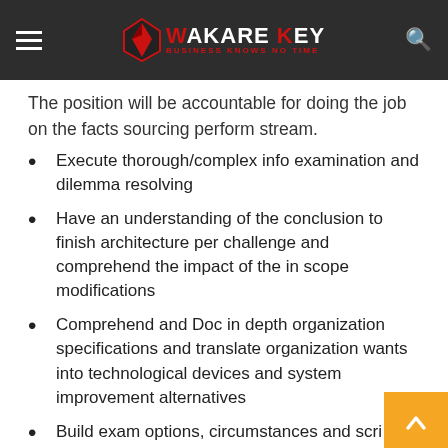Wakare Key — Business Knows No Time
The position will be accountable for doing the job on the facts sourcing perform stream.
Execute thorough/complex info examination and dilemma resolving
Have an understanding of the conclusion to finish architecture per challenge and comprehend the impact of the in scope modifications
Comprehend and Doc in depth organization specifications and translate organization wants into technological devices and system improvement alternatives
Build exam options, circumstances and scripts for system releases and take care of and/or